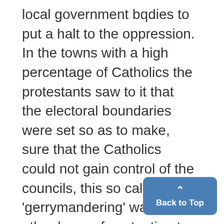local government bodies to put a halt to the oppression. In the towns with a high percentage of Catholics the protestants saw to it that the electoral boundaries were set so as to make, sure that the Catholics could not gain control of the councils, this so called 'gerrymandering' was another bone of contention to the Catholics. To add to the difficulties the police force in Ulster was almost totally protestant, and they we
[Figure (other): Back to Top button - a blue rounded rectangle with an upward caret arrow and the text 'Back to Top']